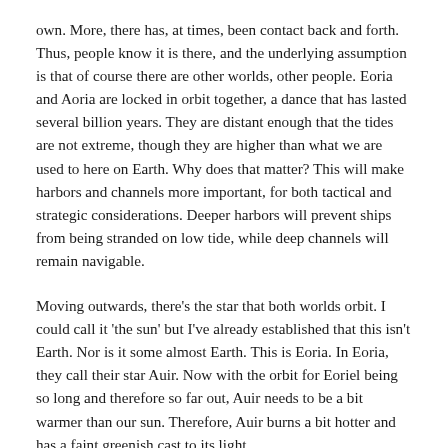own. More, there has, at times, been contact back and forth. Thus, people know it is there, and the underlying assumption is that of course there are other worlds, other people. Eoria and Aoria are locked in orbit together, a dance that has lasted several billion years. They are distant enough that the tides are not extreme, though they are higher than what we are used to here on Earth. Why does that matter? This will make harbors and channels more important, for both tactical and strategic considerations. Deeper harbors will prevent ships from being stranded on low tide, while deep channels will remain navigable.
Moving outwards, there's the star that both worlds orbit. I could call it 'the sun' but I've already established that this isn't Earth. Nor is it some almost Earth. This is Eoria. In Eoria, they call their star Auir. Now with the orbit for Eoriel being so long and therefore so far out, Auir needs to be a bit warmer than our sun. Therefore, Auir burns a bit hotter and has a faint greenish cast to its light.